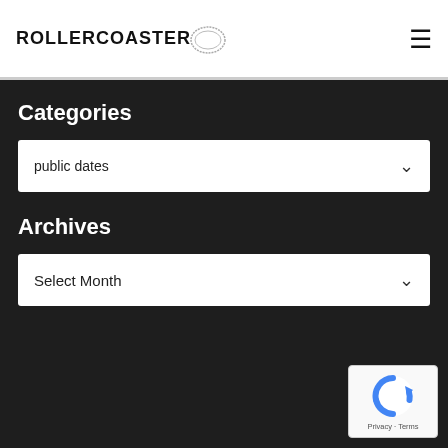ROLLERCOASTER
Categories
public dates
Archives
Select Month